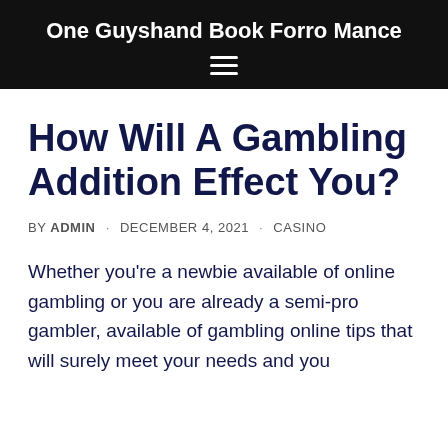One Guyshand Book Forro Mance
How Will A Gambling Addition Effect You?
BY ADMIN · DECEMBER 4, 2021 · CASINO
Whether you're a newbie available of online gambling or you are already a semi-pro gambler, available of gambling online tips that will surely meet your needs and you